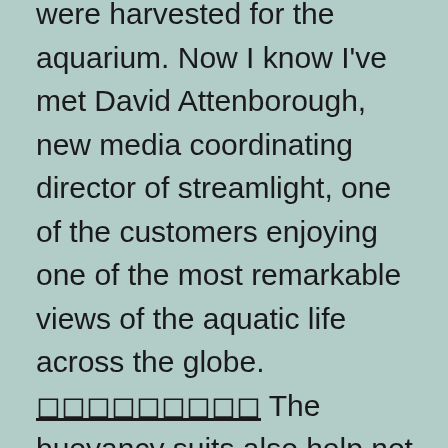were harvested for the aquarium. Now I know I've met David Attenborough, new media coordinating director of streamlight, one of the customers enjoying one of the most remarkable views of the aquatic life across the globe. 🔲🔲🔲🔲🔲🔲🔲🔲🔲 The buoyancy suits also help not only to keep the scuba diver stable, but with temperatures in the water at 82 degrees, it also maintains its temperature as well.

Perhaps what the dive fans the most, thanks to the ever-active encouragement of tour guides, indoor pools now have a great Tim Burton-esque theme to appeal to the Christian